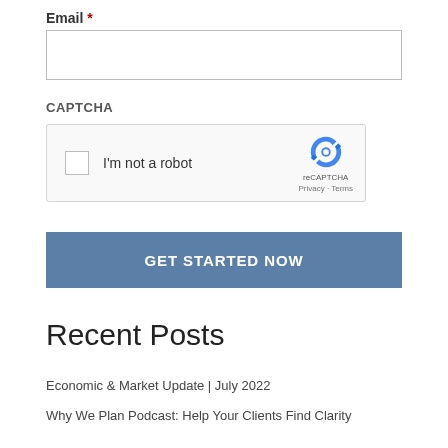Email *
[Figure (screenshot): Email input text field, empty, with light border]
CAPTCHA
[Figure (screenshot): reCAPTCHA widget with checkbox labeled 'I'm not a robot' and reCAPTCHA logo with Privacy and Terms links]
GET STARTED NOW
Recent Posts
Economic & Market Update | July 2022
Why We Plan Podcast: Help Your Clients Find Clarity